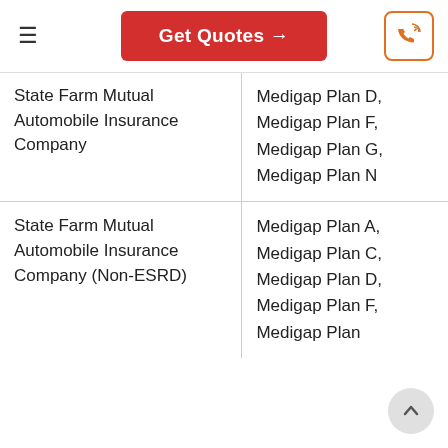Get Quotes →
| Company | Plans |
| --- | --- |
| State Farm Mutual Automobile Insurance Company | Medigap Plan D, Medigap Plan F, Medigap Plan G, Medigap Plan N |
| State Farm Mutual Automobile Insurance Company (Non-ESRD) | Medigap Plan A, Medigap Plan C, Medigap Plan D, Medigap Plan F, Medigap Plan |